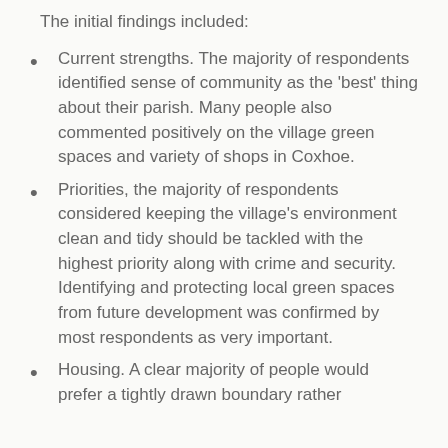The initial findings included:
Current strengths. The majority of respondents identified sense of community as the 'best' thing about their parish. Many people also commented positively on the village green spaces and variety of shops in Coxhoe.
Priorities, the majority of respondents considered keeping the village's environment clean and tidy should be tackled with the highest priority along with crime and security. Identifying and protecting local green spaces from future development was confirmed by most respondents as very important.
Housing. A clear majority of people would prefer a tightly drawn boundary rather